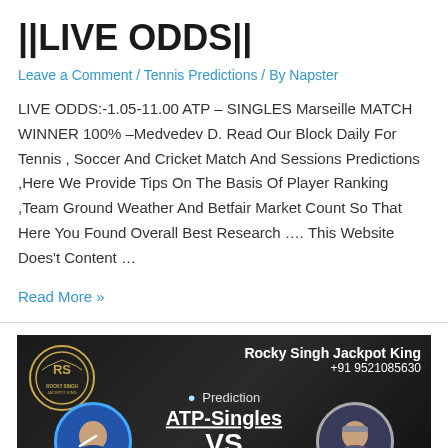||LIVE ODDS||
Leave a Comment / Tennis Predictions / By Napster
LIVE ODDS:-1.05-11.00 ATP – SINGLES Marseille MATCH WINNER 100% –Medvedev D. Read Our Block Daily For Tennis , Soccer And Cricket Match And Sessions Predictions ,Here We Provide Tips On The Basis Of Player Ranking ,Team Ground Weather And Betfair Market Count So That Here You Found Overall Best Research …. This Website Does't Content …
Read More »
[Figure (photo): Advertisement banner for Rocky Singh Jackpot King showing tennis prediction for ATP-Singles with phone number +91 9521085630, a gold RS logo circle, and two circular player photos with VS text in center]